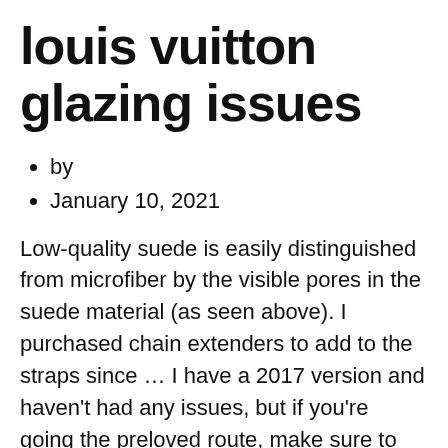louis vuitton glazing issues
by
January 10, 2021
Low-quality suede is easily distinguished from microfiber by the visible pores in the suede material (as seen above). I purchased chain extenders to add to the straps since … I have a 2017 version and haven't had any issues, but if you're going the preloved route, make sure to check your date code. Shore Chic Authentic Louis Vuitton Handbags & Consignment Limited Edition. Almost like new except for small scrapes in the yellow stripe. These issues forced many to return their bags and try a newer version to see if it